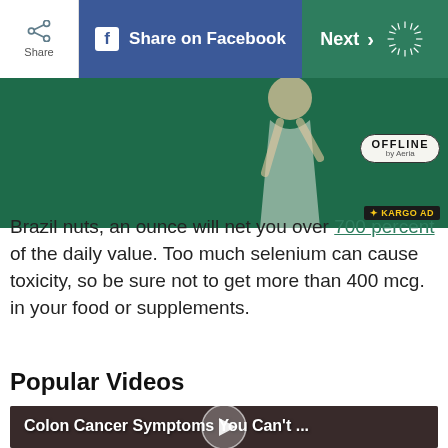Share | Share on Facebook | Next
[Figure (photo): Advertisement banner with woman jumping on green background, OFFLINE by Aeria badge, KARGO AD label. Partial text visible: 'include spinach, oatmeal, and whole']
Brazil nuts, an ounce will net you over 700 percent of the daily value. Too much selenium can cause toxicity, so be sure not to get more than 400 mcg. in your food or supplements.
Popular Videos
[Figure (screenshot): Video thumbnail with dark background showing legs/lower body, title overlay: 'Colon Cancer Symptoms You Can't ...', play button in center]